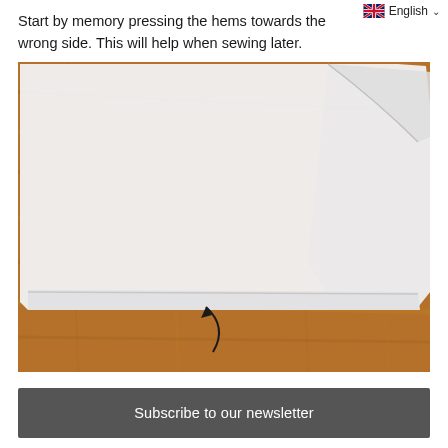English
Start by memory pressing the hems towards the wrong side. This will help when sewing later.
[Figure (photo): A white fabric piece with a folded hem pressed down, placed on a wooden surface. A curved arrow annotation points to the folded hem at the bottom edge.]
Subscribe to our newsletter